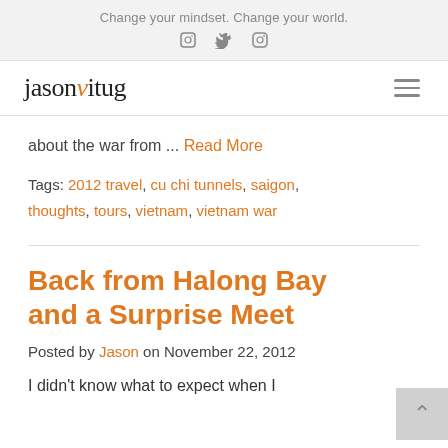Change your mindset. Change your world.
jasonvitug
about the war from ... Read More
Tags: 2012 travel, cu chi tunnels, saigon, thoughts, tours, vietnam, vietnam war
Back from Halong Bay and a Surprise Meet
Posted by Jason on November 22, 2012
I didn't know what to expect when I